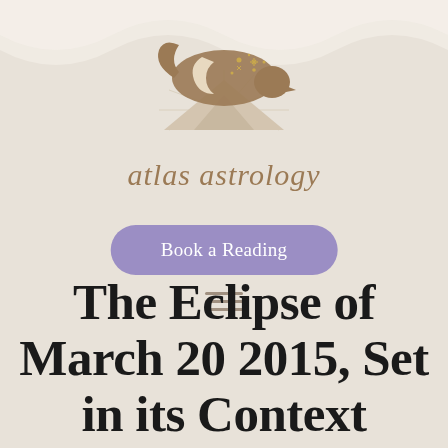[Figure (logo): Atlas Astrology logo: a fox curled over a mountain peak under a starry night sky with a crescent moon, rendered in brown/taupe tones with gold star accents and radiating sun rays beneath]
atlas astrology
Book a Reading
[Figure (other): Hamburger menu icon — three horizontal lines]
The Eclipse of March 20 2015, Set in its Context